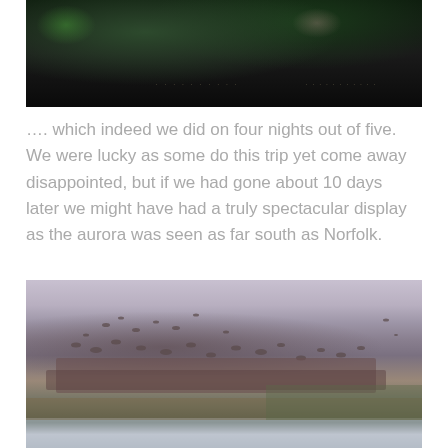[Figure (photo): Dark night sky photograph showing aurora borealis with green glow in upper left and pink glow on right, with distant lights visible along the horizon]
…. which indeed we did on four nights out of five. We were lucky as some do this trip yet come away disappointed, but if we had gone about 10 days later we might have had a truly spectacular display as the aurora was seen as far south as Norfolk.
[Figure (photo): Daytime photograph of a large flock of birds (possibly geese or snow geese) on and above a wetland or marshy area, with reed beds and water visible, taken in muted winter light]